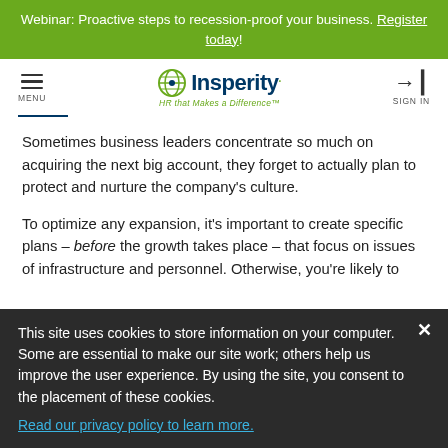Webinar: Proactive steps to recession-proof your business. Register today!
[Figure (logo): Insperity logo with globe icon and tagline 'HR that Makes a Difference']
Sometimes business leaders concentrate so much on acquiring the next big account, they forget to actually plan to protect and nurture the company's culture.
To optimize any expansion, it's important to create specific plans – before the growth takes place – that focus on issues of infrastructure and personnel. Otherwise, you're likely to
This site uses cookies to store information on your computer. Some are essential to make our site work; others help us improve the user experience. By using the site, you consent to the placement of these cookies. Read our privacy policy to learn more.